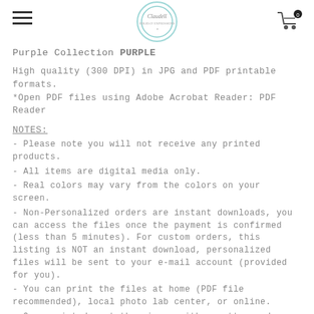[Figure (logo): Claudell brand logo in a teal-bordered circle with script text, centered in page header]
Purple Collection PURPLE
High quality (300 DPI) in JPG and PDF printable formats. *Open PDF files using Adobe Acrobat Reader: PDF Reader
NOTES:
- Please note you will not receive any printed products.
- All items are digital media only.
- Real colors may vary from the colors on your screen.
- Non-Personalized orders are instant downloads, you can access the files once the payment is confirmed (less than 5 minutes). For custom orders, this listing is NOT an instant download, personalized files will be sent to your e-mail account (provided for you).
- You can print the files at home (PDF file recommended), local photo lab center, or online.
- Once printed, cut the pieces with a cutter and a metal ruler